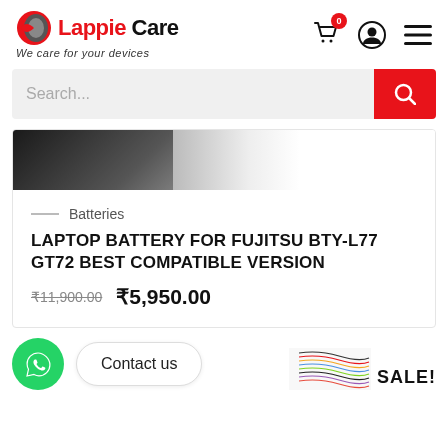Lappie Care — We care for your devices
Search...
[Figure (photo): Partial product image showing corner of a laptop or accessory in black and white]
Batteries
LAPTOP BATTERY FOR FUJITSU BTY-L77 GT72 BEST COMPATIBLE VERSION
₹11,900.00  ₹5,950.00
Contact us
SALE!